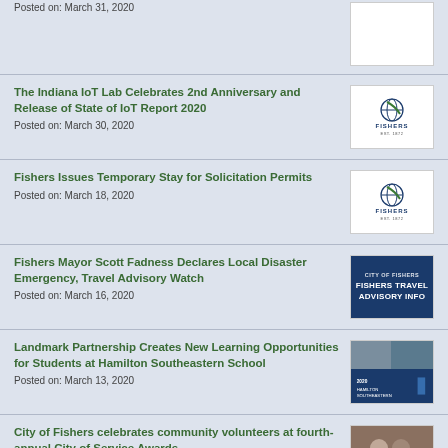Posted on: March 31, 2020
The Indiana IoT Lab Celebrates 2nd Anniversary and Release of State of IoT Report 2020
Posted on: March 30, 2020
Fishers Issues Temporary Stay for Solicitation Permits
Posted on: March 18, 2020
Fishers Mayor Scott Fadness Declares Local Disaster Emergency, Travel Advisory Watch
Posted on: March 16, 2020
Landmark Partnership Creates New Learning Opportunities for Students at Hamilton Southeastern School
Posted on: March 13, 2020
City of Fishers celebrates community volunteers at fourth-annual City of Service Awards